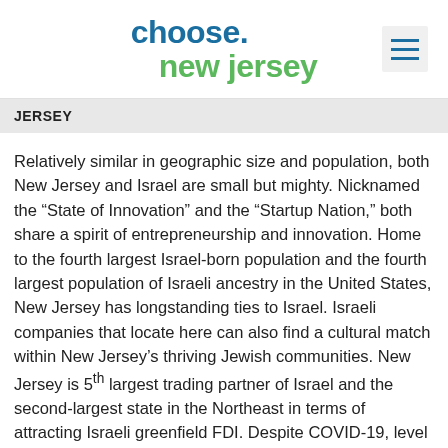choose.new jersey
JERSEY
Relatively similar in geographic size and population, both New Jersey and Israel are small but mighty. Nicknamed the “State of Innovation” and the “Startup Nation,” both share a spirit of entrepreneurship and innovation. Home to the fourth largest Israel-born population and the fourth largest population of Israeli ancestry in the United States, New Jersey has longstanding ties to Israel. Israeli companies that locate here can also find a cultural match within New Jersey’s thriving Jewish communities. New Jersey is 5th largest trading partner of Israel and the second-largest state in the Northeast in terms of attracting Israeli greenfield FDI. Despite COVID-19, level of trade with Israel rose to a record leve…ching the $1.33 billion mark. The